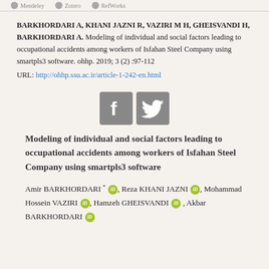Mendeley   Zotero   RefWorks
BARKHORDARI A, KHANI JAZNI R, VAZIRI M H, GHEISVANDI H, BARKHORDARI A. Modeling of individual and social factors leading to occupational accidents among workers of Isfahan Steel Company using smartpls3 software. ohhp. 2019; 3 (2) :97-112
URL: http://ohhp.ssu.ac.ir/article-1-242-en.html
[Figure (illustration): Facebook and Twitter social sharing icons (grey square buttons with white f and bird logos)]
Modeling of individual and social factors leading to occupational accidents among workers of Isfahan Steel Company using smartpls3 software
Amir BARKHORDARI *, Reza KHANI JAZNI, Mohammad Hossein VAZIRI, Hamzeh GHEISVANDI, Akbar BARKHORDARI